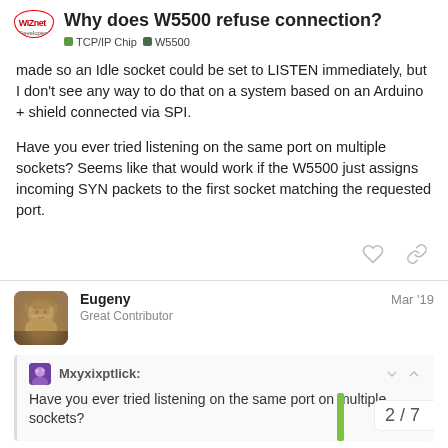Why does W5500 refuse connection? — TCP/IP Chip · W5500
made so an Idle socket could be set to LISTEN immediately, but I don't see any way to do that on a system based on an Arduino + shield connected via SPI.
Have you ever tried listening on the same port on multiple sockets? Seems like that would work if the W5500 just assigns incoming SYN packets to the first socket matching the requested port.
Eugeny — Great Contributor — Mar '19
Mxyxixptlick: Have you ever tried listening on the same port on multiple sockets?